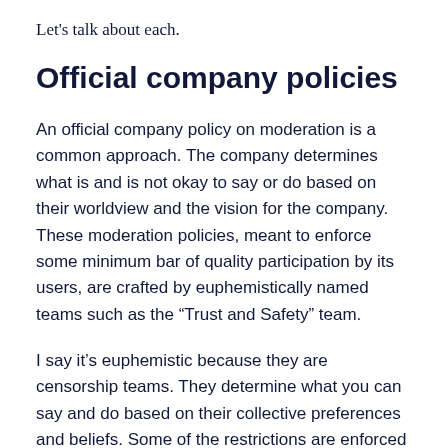Let's talk about each.
Official company policies
An official company policy on moderation is a common approach. The company determines what is and is not okay to say or do based on their worldview and the vision for the company. These moderation policies, meant to enforce some minimum bar of quality participation by its users, are crafted by euphemistically named teams such as the “Trust and Safety” team.
I say it’s euphemistic because they are censorship teams. They determine what you can say and do based on their collective preferences and beliefs. Some of the restrictions are enforced by law—such